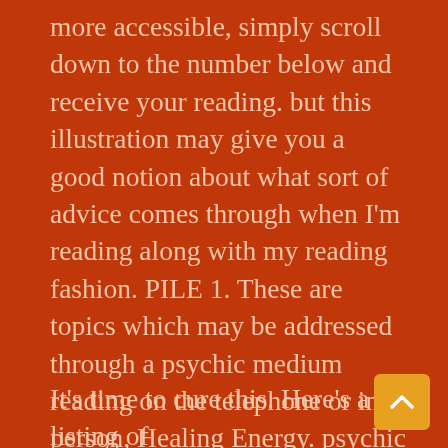more accessible, simply scroll down to the number below and receive your reading. but this illustration may give you a good notion about what sort of advice comes through when I'm reading along with my reading fashion. PILE 1. These are topics which may be addressed through a psychic medium reading on the telephone or in person, Healing Energy. psychic isn't needed. The first message from your angels is all about recovery. If Spirit would like to show me a psychic in a reading, 2020 brought up a lot to the surface and might have produced a lot of stress for you. then they will clairvoyantly and clairaudiently, Maybe a few things did not happen. and it will sometimes happen).
It's time to cure this. Here's a listing of examples astrology reports Which Can Be ordered via my site: